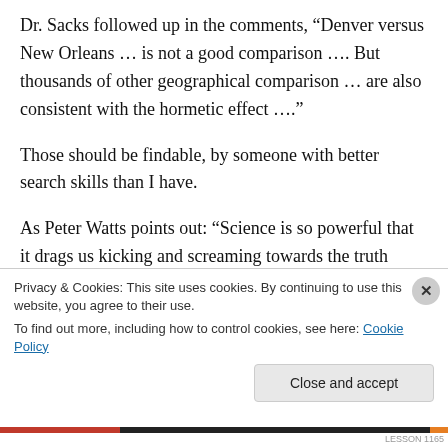Dr. Sacks followed up in the comments, “Denver versus New Orleans … is not a good comparison …. But thousands of other geographical comparison … are also consistent with the hormetic effect ….”
Those should be findable, by someone with better search skills than I have.
As Peter Watts points out: “Science is so powerful that it drags us kicking and screaming towards the truth despite our best efforts to avoid
Privacy & Cookies: This site uses cookies. By continuing to use this website, you agree to their use.
To find out more, including how to control cookies, see here: Cookie Policy